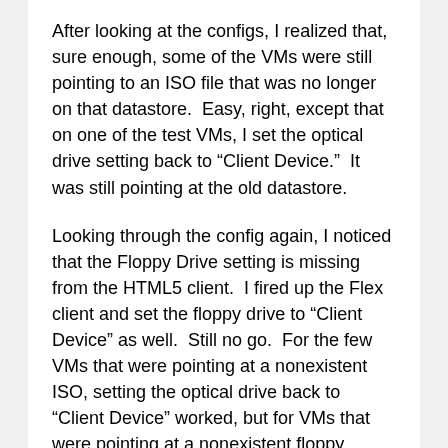After looking at the configs, I realized that, sure enough, some of the VMs were still pointing to an ISO file that was no longer on that datastore.  Easy, right, except that on one of the test VMs, I set the optical drive setting back to “Client Device.”  It was still pointing at the old datastore.
Looking through the config again, I noticed that the Floppy Drive setting is missing from the HTML5 client.  I fired up the Flex client and set the floppy drive to “Client Device” as well.  Still no go.  For the few VMs that were pointing at a nonexistent ISO, setting the optical drive back to “Client Device” worked, but for VMs that were pointing at a nonexistent floppy, changing the floppy to “Client Device” wasn’t working.  A bug in the floppy handling?  Perhaps.
I created a blank floppy image on one of my new datastores and pointed the VM’s floppy to that new image.  Success!  The VM was no longer listing the old datastore, and I could then set the floppy to “Client Device.”  After checking out other VMs, I realized that I had over 100 VMs that had some combination of optical